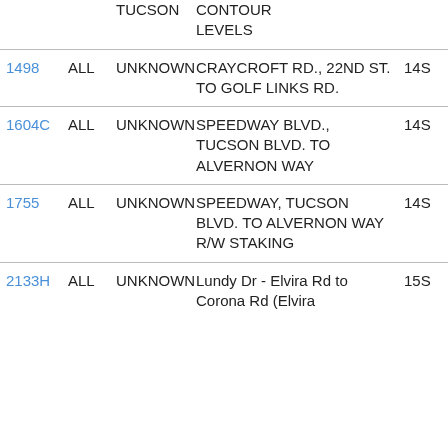|  |  | TUCSON | CONTOUR LEVELS |  |
| --- | --- | --- | --- | --- |
| 1498 | ALL | UNKNOWN | CRAYCROFT RD., 22ND ST. TO GOLF LINKS RD. | 14S |
| 1604C | ALL | UNKNOWN | SPEEDWAY BLVD., TUCSON BLVD. TO ALVERNON WAY | 14S |
| 1755 | ALL | UNKNOWN | SPEEDWAY, TUCSON BLVD. TO ALVERNON WAY R/W STAKING | 14S |
| 2133H | ALL | UNKNOWN | Lundy Dr - Elvira Rd to Corona Rd (Elvira | 15S |